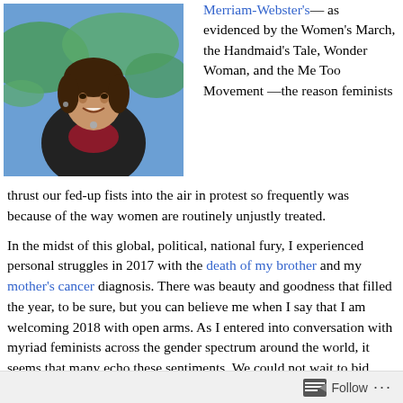[Figure (photo): Portrait photo of a smiling woman with dark hair, wearing a black jacket and red top, with a colorful world map visible in the background]
Merriam-Webster's—as evidenced by the Women's March, the Handmaid's Tale, Wonder Woman, and the Me Too Movement—the reason feminists thrust our fed-up fists into the air in protest so frequently was because of the way women are routinely unjustly treated.
In the midst of this global, political, national fury, I experienced personal struggles in 2017 with the death of my brother and my mother's cancer diagnosis. There was beauty and goodness that filled the year, to be sure, but you can believe me when I say that I am welcoming 2018 with open arms. As I entered into conversation with myriad feminists across the gender spectrum around the world, it seems that many echo these sentiments. We could not wait to bid 2017 farewell. Yet, I knew that I did not want to enter the year filled only with bitterness and resentment. Rather, I wanted to mindfully move forward with radical gratitude, hope, and intentions set on creating a more beautiful 2018. Enter
Follow